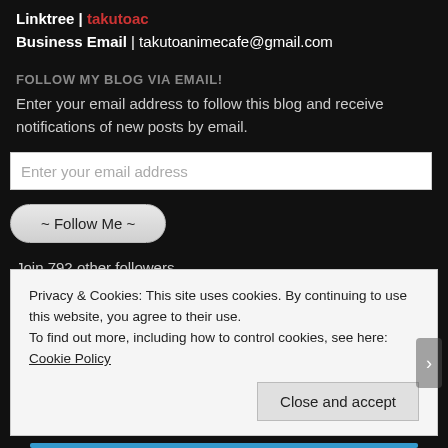Linktree | takutoac
Business Email | takutoanimecafe@gmail.com
FOLLOW MY BLOG VIA EMAIL!
Enter your email address to follow this blog and receive notifications of new posts by email.
Enter your email address
~ Follow Me ~
Join 792 other followers
WHAT AM I UP TO?
All Anime Reviews
Privacy & Cookies: This site uses cookies. By continuing to use this website, you agree to their use.
To find out more, including how to control cookies, see here: Cookie Policy
Close and accept